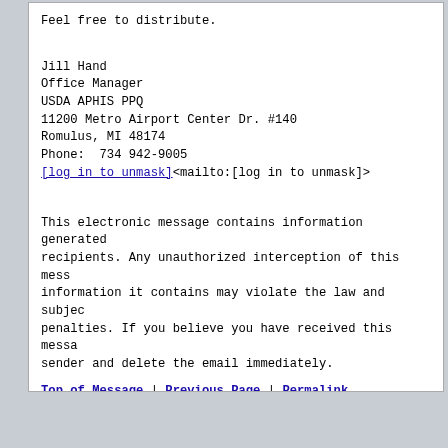Feel free to distribute.
Jill Hand
Office Manager
USDA APHIS PPQ
11200 Metro Airport Center Dr. #140
Romulus, MI 48174
Phone:  734 942-9005
[log in to unmask]<mailto:[log in to unmask]>
This electronic message contains information generated recipients. Any unauthorized interception of this mess information it contains may violate the law and subjec penalties. If you believe you have received this messa sender and delete the email immediately.
Top of Message | Previous Page | Permalink